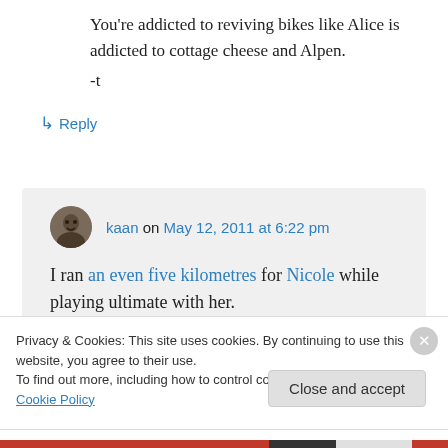You're addicted to reviving bikes like Alice is addicted to cottage cheese and Alpen.
-t
↳ Reply
kaan on May 12, 2011 at 6:22 pm
I ran an even five kilometres for Nicole while playing ultimate with her.
Privacy & Cookies: This site uses cookies. By continuing to use this website, you agree to their use.
To find out more, including how to control cookies, see here: Cookie Policy
Close and accept